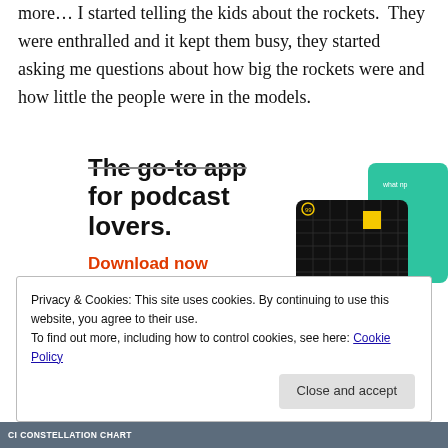more… I started telling the kids about the rockets.  They were enthralled and it kept them busy, they started asking me questions about how big the rockets were and how little the people were in the models.
[Figure (infographic): Advertisement for a podcast app. Text reads 'The go-to app for podcast lovers.' with 'Download now' in red/orange. Shows app cards including a 99% Invisible podcast card on a dark grid background and a green card partially visible.]
Privacy & Cookies: This site uses cookies. By continuing to use this website, you agree to their use.
To find out more, including how to control cookies, see here: Cookie Policy
Close and accept
[Figure (photo): Bottom strip showing partial image with text 'CI CONSTELLATION CHART']